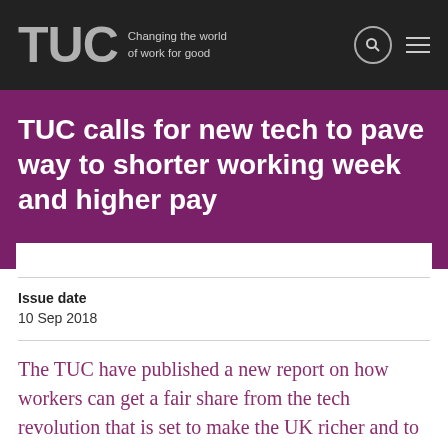TUC – Changing the world of work for good
TUC calls for new tech to pave way to shorter working week and higher pay
Issue date
10 Sep 2018
The TUC have published a new report on how workers can get a fair share from the tech revolution that is set to make the UK richer and to change the world of work.
New technology like AI, automation and robotics could